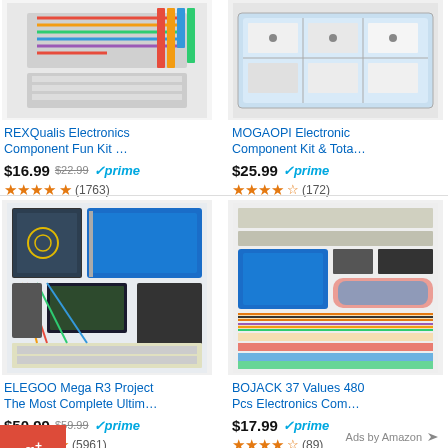[Figure (screenshot): Amazon product listing screenshot showing 4 electronics component kits with prices, ratings, and Prime badges. Social media share buttons visible on left side (Google+, Facebook, LinkedIn, Twitter, Friends, StumbleUpon). Products: REXQualis Electronics Component Fun Kit $16.99 (orig $22.99), MOGAOPI Electronic Component Kit & Tota $25.99, ELEGOO Mega R3 Project The Most Complete Ultim $50.99 (orig $59.99), BOJACK 37 Values 480 Pcs Electronics Com $17.99. Ads by Amazon footer.]